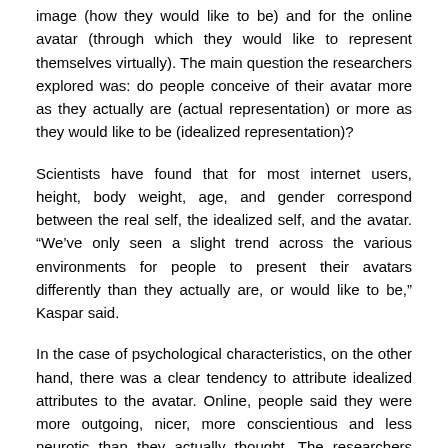image (how they would like to be) and for the online avatar (through which they would like to represent themselves virtually). The main question the researchers explored was: do people conceive of their avatar more as they actually are (actual representation) or more as they would like to be (idealized representation)?
Scientists have found that for most internet users, height, body weight, age, and gender correspond between the real self, the idealized self, and the avatar. “We’ve only seen a slight trend across the various environments for people to present their avatars differently than they actually are, or would like to be,” Kaspar said.
In the case of psychological characteristics, on the other hand, there was a clear tendency to attribute idealized attributes to the avatar. Online, people said they were more outgoing, nicer, more conscientious and less neurotic than they actually thought. The researchers observed almost no difference between the six environments. “Idealized self-representation